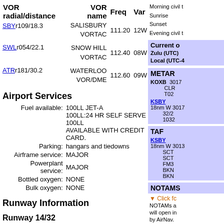| VOR radial/distance | VOR name | Freq | Var |
| --- | --- | --- | --- |
| SBYr109/18.3 | SALISBURY VORTAC | 111.20 | 12W |
| SWLr054/22.1 | SNOW HILL VORTAC | 112.40 | 08W |
| ATRr181/30.2 | WATERLOO VOR/DME | 112.60 | 09W |
Morning civil t
Sunrise
Sunset
Evening civil t
Current o
Zulu (UTC)
Local (UTC-4
Airport Services
METAR
KOXB 3017 CLR T02
KSBY 18nm W 3017 32/2 1032
Fuel available: 100LL JET-A
100LL:24 HR SELF SERVE 100LL AVAILABLE WITH CREDIT CARD.
Parking: hangars and tiedowns
Airframe service: MAJOR
Powerplant service: MAJOR
Bottled oxygen: NONE
Bulk oxygen: NONE
TAF
KSBY 18nm W 3013 SCT SCT FM3 BKN BKN
NOTAMS
Click fc
NOTAMs a
will open in
by AirNav.
Runway Information
Runway 14/32